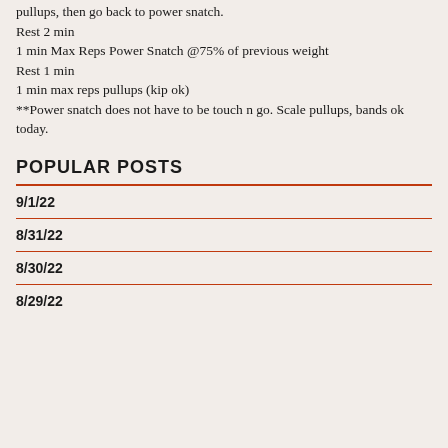pullups, then go back to power snatch.
Rest 2 min
1 min Max Reps Power Snatch @75% of previous weight
Rest 1 min
1 min max reps pullups (kip ok)
**Power snatch does not have to be touch n go. Scale pullups, bands ok today.
POPULAR POSTS
9/1/22
8/31/22
8/30/22
8/29/22